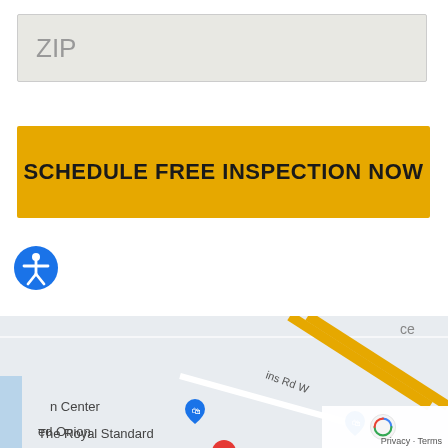ZIP
SCHEDULE FREE INSPECTION NOW
[Figure (other): Accessibility icon - person with arms outstretched in a circle, blue background]
[Figure (map): Google Maps showing area with Map/Satellite toggle, locations including Boykin Brothers, The Royal Standard, Bottom Li..., ed Onion, n Center. Roads labeled including Rd W.]